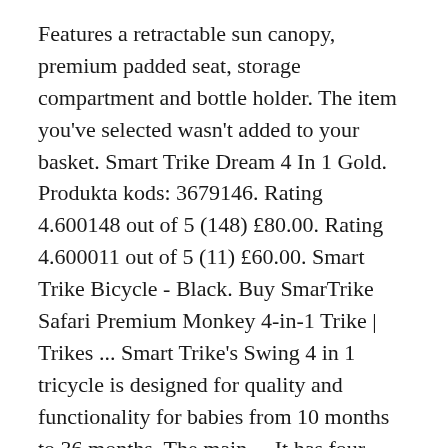Features a retractable sun canopy, premium padded seat, storage compartment and bottle holder. The item you've selected wasn't added to your basket. Smart Trike Dream 4 In 1 Gold. Produkta kods: 3679146. Rating 4.600148 out of 5 (148) £80.00. Rating 4.600011 out of 5 (11) £60.00. Smart Trike Bicycle - Black. Buy SmarTrike Safari Premium Monkey 4-in-1 Trike | Trikes ... Smart Trike's Swing 4 in 1 tricycle is designed for quality and functionality for babies from 10 months to 36 months. The main ... It has four stages adjusting alongside your baby as they gain confidence and learn to ride. Debit. Protective equipment (helmet) should be worn, not to be used in traffic. Rating 4.600148 out of 5 (148) £80.00. 2 watching. SmarTrike Safari Premium Monkey 4-in-1 Trike Reviews Review score: 9.1/10 – Updated Latest Price: £70.00 Let's see what it is about SmarTrike Safari Premium Monkey 4-in-1 Trike that gets it a review score of 9.1/10. £73.95 incl. In stock. Express